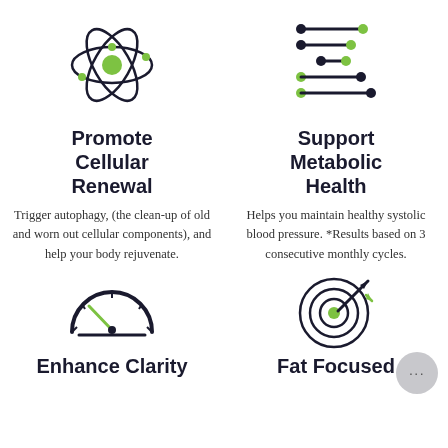[Figure (illustration): Atom/electron orbit icon with green center and dark navy orbiting rings with green dots]
[Figure (illustration): DNA/gene sequence icon with alternating dark and green horizontal bars connected by dots]
Promote Cellular Renewal
Support Metabolic Health
Trigger autophagy, (the clean-up of old and worn out cellular components), and help your body rejuvenate.
Helps you maintain healthy systolic blood pressure. *Results based on 3 consecutive monthly cycles.
[Figure (illustration): Speedometer/gauge icon with dark navy casing and green needle pointing to low-mid range]
[Figure (illustration): Bullseye/target icon with concentric rings and an arrow hitting center, with a small green arrow]
Enhance Clarity
Fat Focused